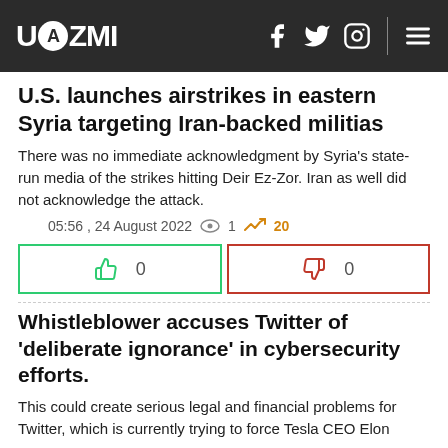UAZMI
U.S. launches airstrikes in eastern Syria targeting Iran-backed militias
There was no immediate acknowledgment by Syria's state-run media of the strikes hitting Deir Ez-Zor. Iran as well did not acknowledge the attack.
05:56 , 24 August 2022  👁 1  📈 20
| Like | Dislike |
| --- | --- |
| 0 | 0 |
Whistleblower accuses Twitter of 'deliberate ignorance' in cybersecurity efforts.
This could create serious legal and financial problems for Twitter, which is currently trying to force Tesla CEO Elon